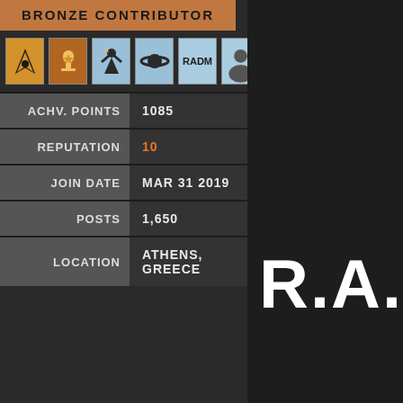BRONZE CONTRIBUTOR
[Figure (other): Row of 6 achievement badges: Star Trek delta insignia (gold/orange), trophy with star (orange/brown), figure with star (light blue), planet with ring (light blue), RADM text badge (light blue), photo badge (light blue)]
|  |  |
| --- | --- |
| ACHV. POINTS | 1085 |
| REPUTATION | 10 |
| JOIN DATE | MAR 31 2019 |
| POSTS | 1,650 |
| LOCATION | ATHENS, GREECE |
R.A.
ASSIGNED CAP
Miles (H)
Morris
Rastilion
Remsus